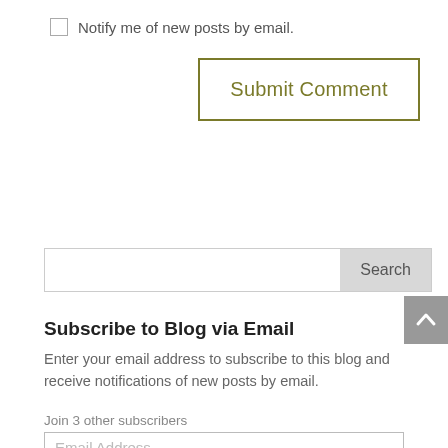Notify me of new posts by email.
Submit Comment
[Figure (other): Search bar with text input field and Search button]
[Figure (other): Back to top arrow button (grey)]
Subscribe to Blog via Email
Enter your email address to subscribe to this blog and receive notifications of new posts by email.
Join 3 other subscribers
Email Address